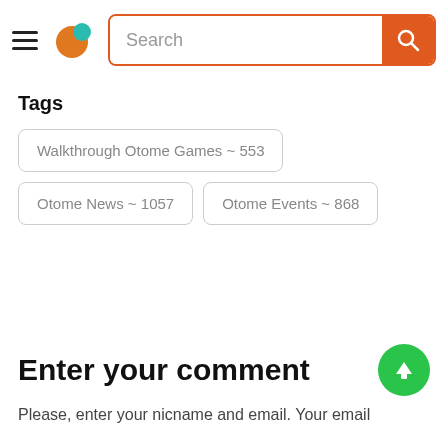Search
Tags
Walkthrough Otome Games ~ 553
Otome News ~ 1057
Otome Events ~ 868
Enter your comment
Please, enter your nicname and email. Your email